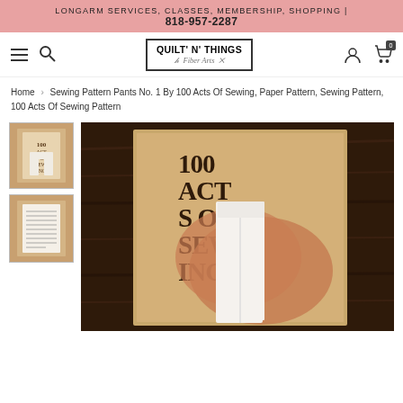LONGARM SERVICES, CLASSES, MEMBERSHIP, SHOPPING | 818-957-2287
[Figure (logo): Quilt N Things Fiber Arts logo with border]
Home > Sewing Pattern Pants No. 1 By 100 Acts Of Sewing, Paper Pattern, Sewing Pattern, 100 Acts Of Sewing Pattern
[Figure (photo): Small thumbnail: 100 Acts of Sewing pants pattern package on wooden surface]
[Figure (photo): Small thumbnail: back of 100 Acts of Sewing pattern package]
[Figure (photo): Main product image: 100 Acts of Sewing pants pattern package on dark wooden surface showing kraft paper package with pants pattern pieces]